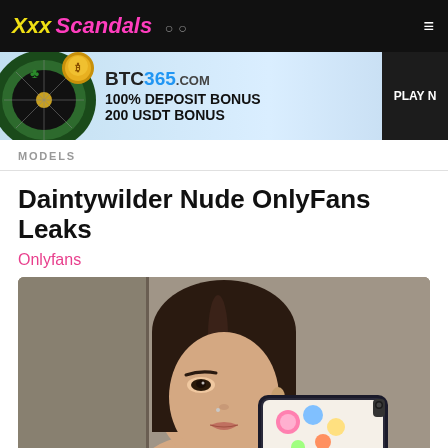Xxx Scandals oo
[Figure (photo): Advertisement banner for BTC365.com showing a roulette wheel, gold coins, and text: BTC365.COM 100% DEPOSIT BONUS 200 USDT BONUS PLAY NOW]
MODELS
Daintywilder Nude OnlyFans Leaks
Onlyfans
[Figure (photo): Close-up selfie photo of a young brunette woman with dark eye makeup taking a mirror selfie holding a phone with a sticker case]